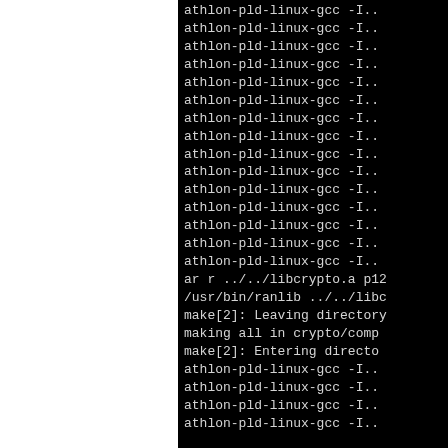[Figure (screenshot): Terminal/console output showing repeated compiler invocations of athlon-pld-linux-gcc with -I.. flags, followed by ar, ranlib, make leaving/entering directory messages, and crypto/comp build steps.]